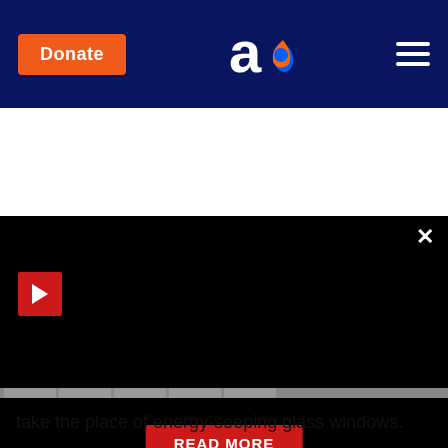Donate | [logo] | [menu]
[Figure (screenshot): Black video/media banner area with red play button in top left, X close button in top right, and a red READ MORE button centered near the bottom.]
take the place of energy-seeping glass windows.
31. With pollution growing to dangerous levels in the Mediterranean Sea, Israel's EcoOcean research and educational organization trains local youngsters on land and sea, and provides local and international marine researchers with an at-cost vessel for advanced marine science studies in the Mediterranean, Red and Black seas. Jean-Michel Cousteau, Semour Esteve, Conteh...